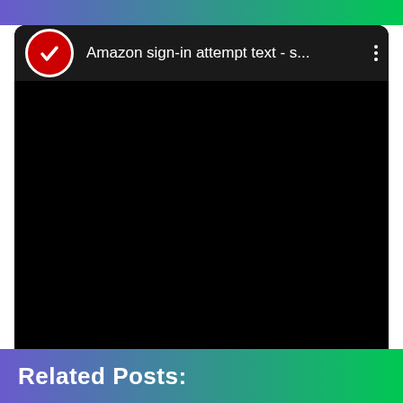[Figure (screenshot): Top gradient bar (purple to green) spanning the top of the page]
[Figure (screenshot): A dark video card showing a YouTube-style video entry with a red shield checkmark icon, title 'Amazon sign-in attempt text - s...', three-dot menu icon, and a black video preview area]
Related Posts: